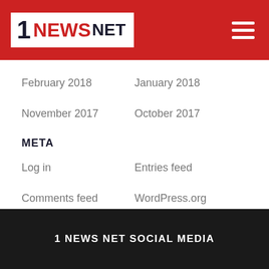1 NEWS NET
February 2018
January 2018
November 2017
October 2017
META
Log in
Entries feed
Comments feed
WordPress.org
1 NEWS NET SOCIAL MEDIA